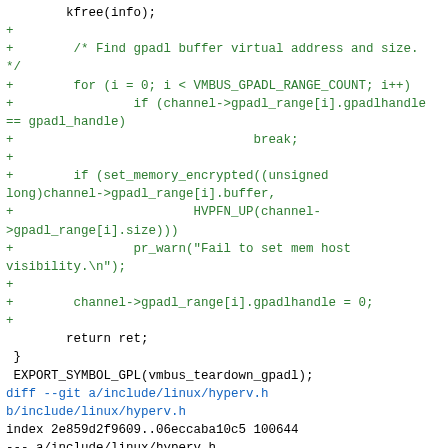Code diff showing vmbus_teardown_gpadl and hyperv.h changes including set_memory_encrypted, gpadl_range handling, and VMBUS_DEFAULT_MAX_PKT_SIZE define